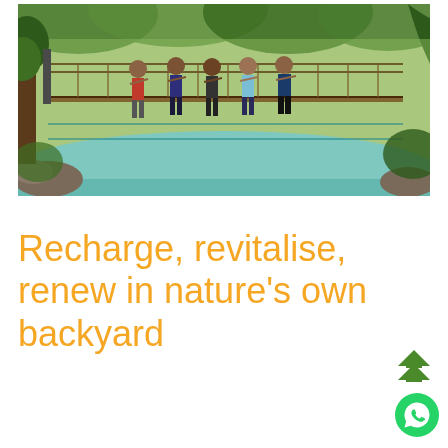[Figure (photo): Group of five people standing on a rope suspension bridge over a body of turquoise-green water, surrounded by lush tropical green trees and vegetation.]
Recharge, revitalise, renew in nature’s own backyard